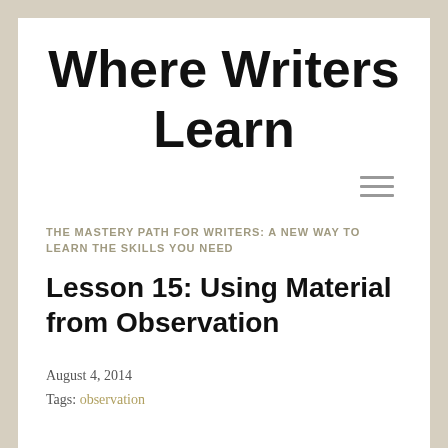Where Writers Learn
THE MASTERY PATH FOR WRITERS: A NEW WAY TO LEARN THE SKILLS YOU NEED
Lesson 15: Using Material from Observation
August 4, 2014
Tags: observation